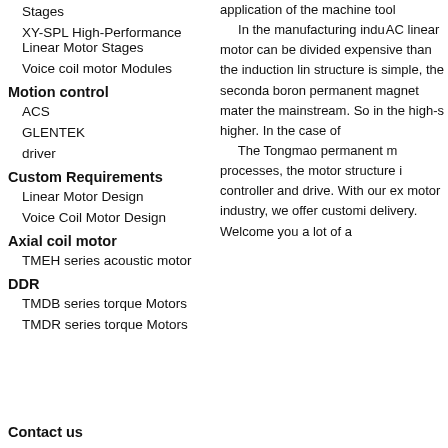Stages
XY-SPL High-Performance Linear Motor Stages
Voice coil motor Modules
Motion control
ACS
GLENTEK
driver
Custom Requirements
Linear Motor Design
Voice Coil Motor Design
Axial coil motor
TMEH series acoustic motor
DDR
TMDB series torque Motors
TMDR series torque Motors
application of the machine tool

In the manufacturing industr AC linear motor can be divided expensive than the induction lin structure is simple, the seconda boron permanent magnet mater the mainstream. So in the high-s higher. In the case of

The Tongmao permanent m processes, the motor structure i controller and drive. With our ex motor industry, we offer customi delivery. Welcome you a lot of a
Contact us